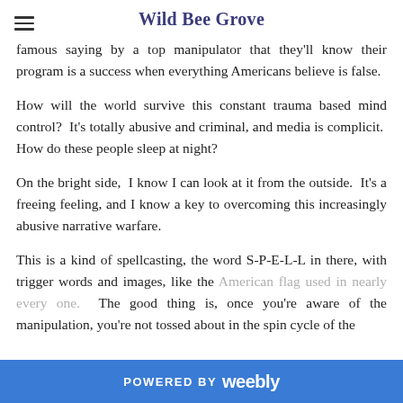Wild Bee Grove
famous saying by a top manipulator that they'll know their program is a success when everything Americans believe is false.
How will the world survive this constant trauma based mind control?  It's totally abusive and criminal, and media is complicit.  How do these people sleep at night?
On the bright side,  I know I can look at it from the outside.  It's a freeing feeling, and I know a key to overcoming this increasingly abusive narrative warfare.
This is a kind of spellcasting, the word S-P-E-L-L in there, with trigger words and images, like the American flag used in nearly every one.  The good thing is, once you're aware of the manipulation, you're not tossed about in the spin cycle of the
POWERED BY weebly